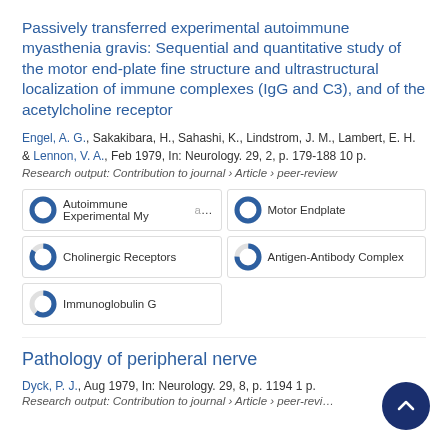Passively transferred experimental autoimmune myasthenia gravis: Sequential and quantitative study of the motor end-plate fine structure and ultrastructural localization of immune complexes (IgG and C3), and of the acetylcholine receptor
Engel, A. G., Sakakibara, H., Sahashi, K., Lindstrom, J. M., Lambert, E. H. & Lennon, V. A., Feb 1979, In: Neurology. 29, 2, p. 179-188 10 p.
Research output: Contribution to journal › Article › peer-review
Autoimmune Experimental Mya…
Motor Endplate
Cholinergic Receptors
Antigen-Antibody Complex
Immunoglobulin G
Pathology of peripheral nerve
Dyck, P. J., Aug 1979, In: Neurology. 29, 8, p. 1194 1 p.
Research output: Contribution to journal › Article › peer-review